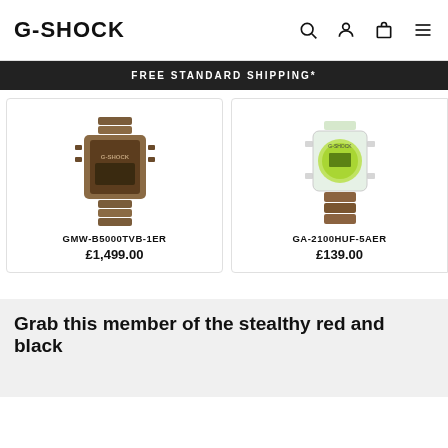G-SHOCK
FREE STANDARD SHIPPING*
[Figure (photo): G-Shock GMW-B5000TVB-1ER watch product image, bronze/copper colored metal bracelet]
GMW-B5000TVB-1ER
£1,499.00
[Figure (photo): G-Shock GA-2100HUF-5AER watch product image, translucent/clear case with green dial and brown resin band]
GA-2100HUF-5AER
£139.00
Grab this member of the stealthy red and black